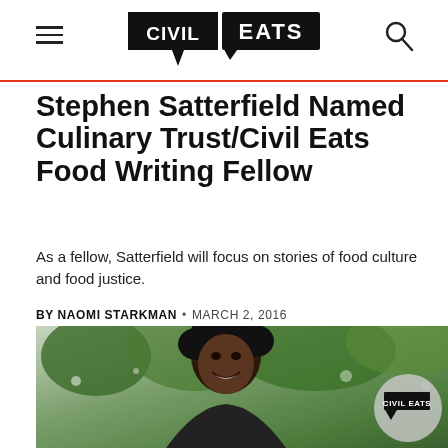Civil Eats
Stephen Satterfield Named Culinary Trust/Civil Eats Food Writing Fellow
As a fellow, Satterfield will focus on stories of food culture and food justice.
BY NAOMI STARKMAN • MARCH 2, 2016
[Figure (photo): Photograph of Stephen Satterfield smiling outdoors with trees in background; Civil Eats logo watermark in bottom right corner]